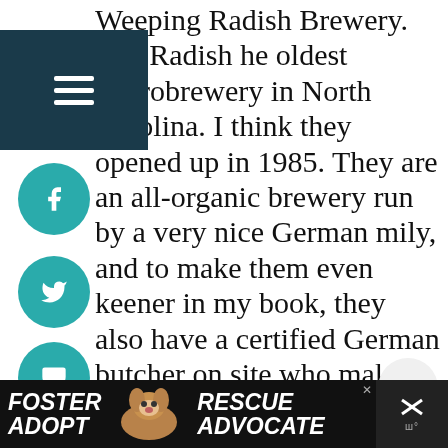Weeping Radish Brewery. The Radish he oldest microbrewery in North Carolina. I think they opened up in 1985. They are an all-organic brewery run by a very nice German mily, and to make them even keener in my book, they also have a certified German butcher on site who makes all kinds of wonderful sausages from locally, organically and compassionately raised am-i-
[Figure (screenshot): Ad banner at bottom: black background with FOSTER / ADOPT text on left, dog photo in center, RESCUE / ADVOCATE text on right, close button and icons on far right]